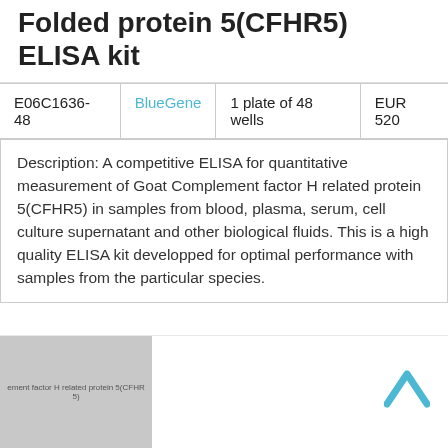Folded protein 5(CFHR5) ELISA kit
| E06C1636-48 | BlueGene | 1 plate of 48 wells | EUR 520 |
| --- | --- | --- | --- |
Description: A competitive ELISA for quantitative measurement of Goat Complement factor H related protein 5(CFHR5) in samples from blood, plasma, serum, cell culture supernatant and other biological fluids. This is a high quality ELISA kit developped for optimal performance with samples from the particular species.
[Figure (photo): Thumbnail image of the ELISA kit product, showing a grey/silver package or plate image with text label referencing 'Complement factor H related protein 5(CFHR5)']